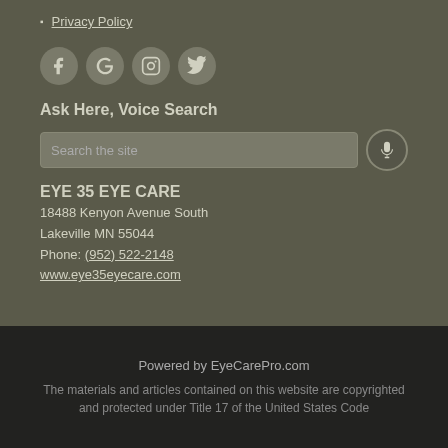Privacy Policy
[Figure (illustration): Row of four social media icon buttons: Facebook, Google, Instagram, Twitter]
Ask Here, Voice Search
Search the site (search input with microphone button)
EYE 35 EYE CARE
18488 Kenyon Avenue South
Lakeville MN 55044
Phone: (952) 522-2148
www.eye35eyecare.com
Powered by EyeCarePro.com
The materials and articles contained on this website are copyrighted and protected under Title 17 of the United States Code